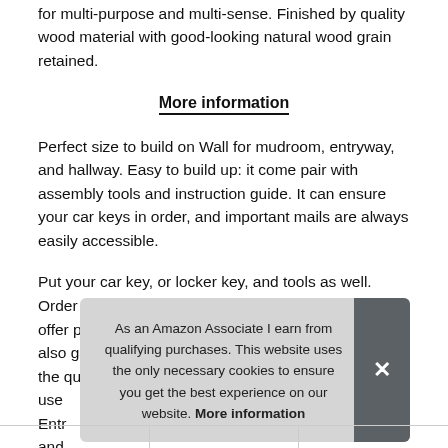for multi-purpose and multi-sense. Finished by quality wood material with good-looking natural wood grain retained.
More information
Perfect size to build on Wall for mudroom, entryway, and hallway. Easy to build up: it come pair with assembly tools and instruction guide. It can ensure your car keys in order, and important mails are always easily accessible.
Put your car key, or locker key, and tools as well. Order with confidence, click and add to cart now! we offer premium quality and best service, and you can also gain a full refund should you not be satisfied with the quality. You can always use... Entr... and...
As an Amazon Associate I earn from qualifying purchases. This website uses the only necessary cookies to ensure you get the best experience on our website. More information
|  |